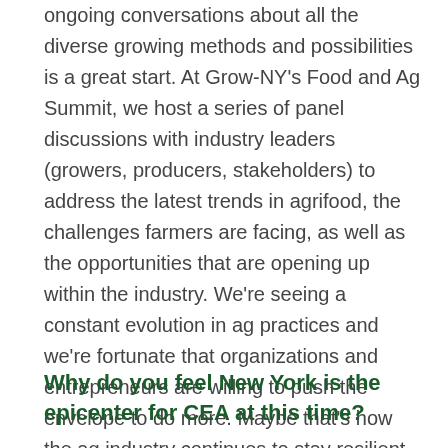ongoing conversations about all the diverse growing methods and possibilities is a great start. At Grow-NY's Food and Ag Summit, we host a series of panel discussions with industry leaders (growers, producers, stakeholders) to address the latest trends in agrifood, the challenges farmers are facing, as well as the opportunities that are opening up within the industry. We're seeing a constant evolution in ag practices and we're fortunate that organizations and entrepreneurs are willing to push the envelope to do more. Maybe that's how the ag industry continues to stay resilient.
Why do you feel New York is the epicenter for CEA at this time?